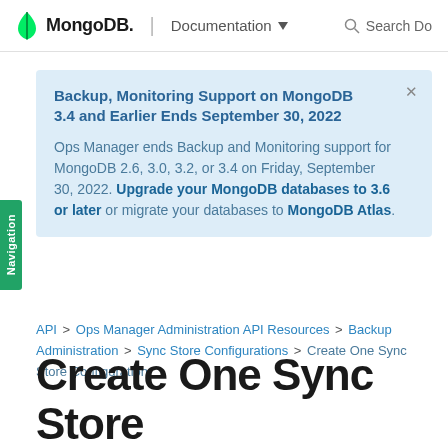MongoDB | Documentation   Search Do
Backup, Monitoring Support on MongoDB 3.4 and Earlier Ends September 30, 2022

Ops Manager ends Backup and Monitoring support for MongoDB 2.6, 3.0, 3.2, or 3.4 on Friday, September 30, 2022. Upgrade your MongoDB databases to 3.6 or later or migrate your databases to MongoDB Atlas.
API > Ops Manager Administration API Resources > Backup Administration > Sync Store Configurations > Create One Sync Store Configuration
Create One Sync Store